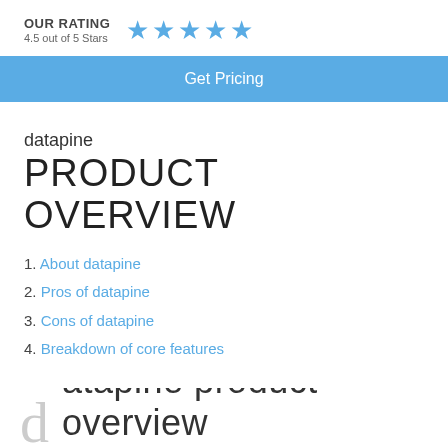OUR RATING 4.5 out of 5 Stars ★★★★★
Get Pricing
datapine PRODUCT OVERVIEW
1. About datapine
2. Pros of datapine
3. Cons of datapine
4. Breakdown of core features
datapine product overview